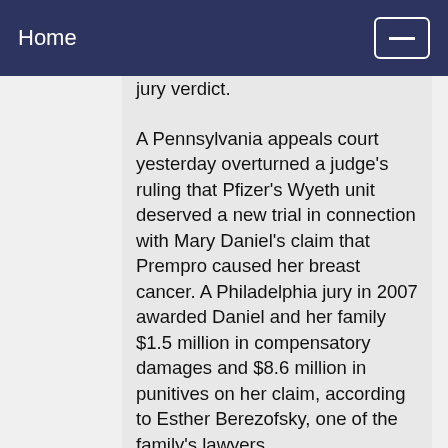Home
jury verdict.
A Pennsylvania appeals court yesterday overturned a judge's ruling that Pfizer's Wyeth unit deserved a new trial in connection with Mary Daniel's claim that Prempro caused her breast cancer. A Philadelphia jury in 2007 awarded Daniel and her family $1.5 million in compensatory damages and $8.6 million in punitives on her claim, according to Esther Berezofsky, one of the family's lawyers.
The appellate judges concluded no “fraud on the court took place here and a new trial should not have been granted,” according to the 55-page decision from the Superior Court of Pennsylvania.